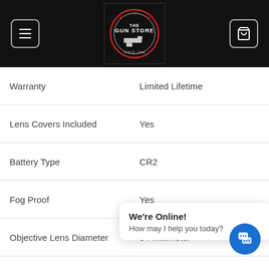[Figure (screenshot): The Gun Store website header with hamburger menu icon on left, logo in center, and shopping cart icon on right, all on black background]
| Attribute | Value |
| --- | --- |
| Warranty | Limited Lifetime |
| Lens Covers Included | Yes |
| Battery Type | CR2 |
| Fog Proof | Yes |
| Objective Lens Diameter | 54 Millimeter |
| Eye Relief | 0.55 Inches |
| Exit Pupil Diameter | 5.4 Millimeter |
| Prism Type | Roof |
| Minimum Focus Distance | 10 Feet |
| Field of View @ 1000 Ya… |  |
| Case Included | Yes |
We're Online! How may I help you today?